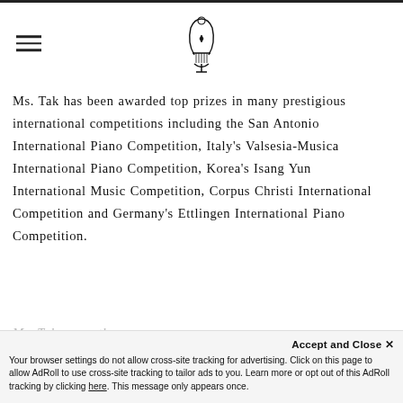[Hamburger menu icon] [Lyre/music organization logo]
Ms. Tak has been awarded top prizes in many prestigious international competitions including the San Antonio International Piano Competition, Italy's Valsesia-Musica International Piano Competition, Korea's Isang Yun International Music Competition, Corpus Christi International Competition and Germany's Ettlingen International Piano Competition.
Ms. Tak currently serves as an
Accept and Close ✕
Your browser settings do not allow cross-site tracking for advertising. Click on this page to allow AdRoll to use cross-site tracking to tailor ads to you. Learn more or opt out of this AdRoll tracking by clicking here. This message only appears once.